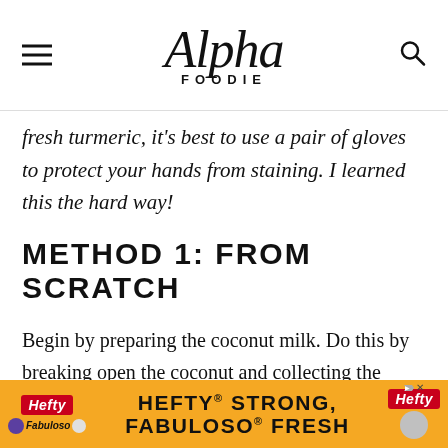Alpha Foodie
fresh turmeric, it's best to use a pair of gloves to protect your hands from staining. I learned this the hard way!
METHOD 1: FROM SCRATCH
Begin by preparing the coconut milk. Do this by breaking open the coconut and collecting the coconut water and meat. To open... time... ack
[Figure (screenshot): Hefty Strong, Fabuloso Fresh advertisement banner in orange with Hefty logos]